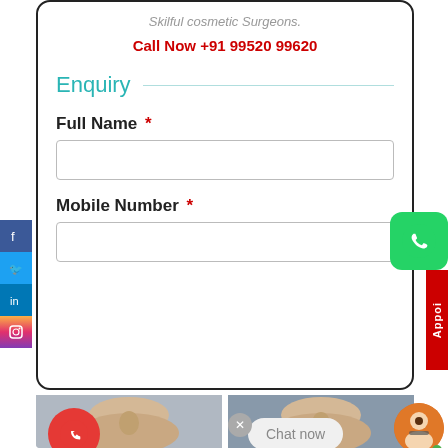Skilful cosmetic Surgeons.
Call Now +91 99520 99620
Enquiry
Full Name *
Mobile Number *
[Figure (screenshot): Before and after photo comparison of a patient's face (nose area), side by side. Left shows before, right shows after cosmetic surgery.]
Chat now